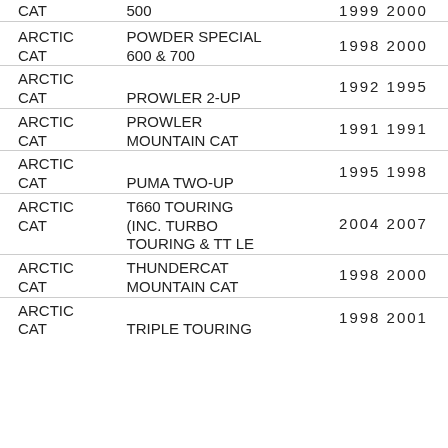| Make | Model | Years |
| --- | --- | --- |
| ARCTIC CAT | 500 | 1999 2000 |
| ARCTIC CAT | POWDER SPECIAL 600 & 700 | 1998 2000 |
| ARCTIC CAT | PROWLER 2-UP | 1992 1995 |
| ARCTIC CAT | PROWLER MOUNTAIN CAT | 1991 1991 |
| ARCTIC CAT | PUMA TWO-UP | 1995 1998 |
| ARCTIC CAT | T660 TOURING (INC. TURBO TOURING & TT LE | 2004 2007 |
| ARCTIC CAT | THUNDERCAT MOUNTAIN CAT | 1998 2000 |
| ARCTIC CAT | TRIPLE TOURING | 1998 2001 |